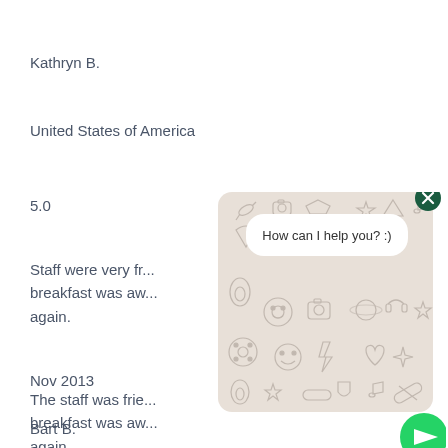Kathryn B.
United States of America
5.0
Staff were very fr... breakfast was aw... again.
The staff was frie... breakfast was aw... again.
Nov 2013
Bart B.
[Figure (screenshot): A chat widget overlay with a patterned beige background featuring doodle-style icons (food, faces, stars, etc.), a white speech bubble saying 'How can I help you? :)', a close (X) button in dark green, a white input field, and a green send button with a play/arrow icon.]